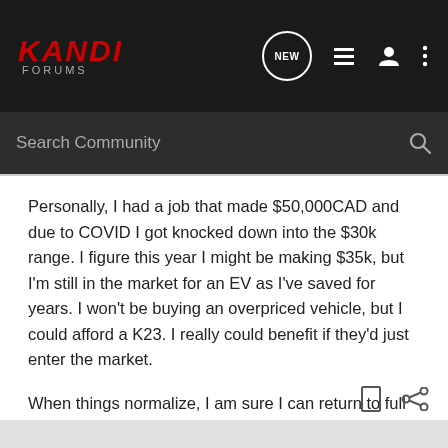KANDI FORUMS — header with search bar
Personally, I had a job that made $50,000CAD and due to COVID I got knocked down into the $30k range. I figure this year I might be making $35k, but I'm still in the market for an EV as I've saved for years. I won't be buying an overpriced vehicle, but I could afford a K23. I really could benefit if they'd just enter the market.
When things normalize, I am sure I can return to full income in the next year, so I certainly want an EV sooner rather than later.
fanfare